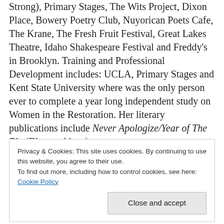Strong), Primary Stages, The Wits Project, Dixon Place, Bowery Poetry Club, Nuyorican Poets Cafe, The Krane, The Fresh Fruit Festival, Great Lakes Theatre, Idaho Shakespeare Festival and Freddy's in Brooklyn. Training and Professional Development includes: UCLA, Primary Stages and Kent State University where was the only person ever to complete a year long independent study on Women in the Restoration. Her literary publications include Never Apologize/Year of The Pig (Bluestockings),
Privacy & Cookies: This site uses cookies. By continuing to use this website, you agree to their use.
To find out more, including how to control cookies, see here: Cookie Policy
Image credit: Unsplash